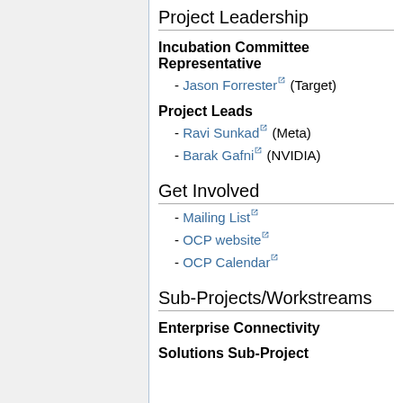Project Leadership
Incubation Committee Representative
- Jason Forrester (Target)
Project Leads
- Ravi Sunkad (Meta)
- Barak Gafni (NVIDIA)
Get Involved
- Mailing List
- OCP website
- OCP Calendar
Sub-Projects/Workstreams
Enterprise Connectivity
Solutions Sub-Project